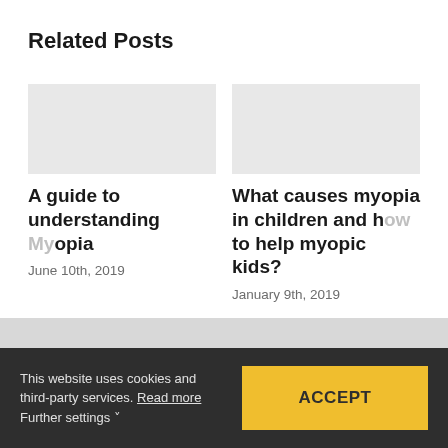Related Posts
A guide to understanding Myopia
June 10th, 2019
What causes myopia in children and how to help myopic kids?
January 9th, 2019
This website uses cookies and third-party services. Read more
Further settings
ACCEPT